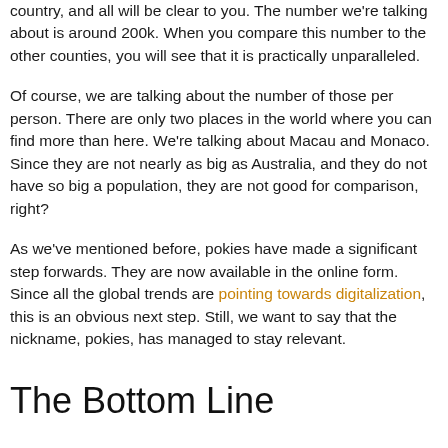country, and all will be clear to you. The number we're talking about is around 200k. When you compare this number to the other counties, you will see that it is practically unparalleled.
Of course, we are talking about the number of those per person. There are only two places in the world where you can find more than here. We're talking about Macau and Monaco. Since they are not nearly as big as Australia, and they do not have so big a population, they are not good for comparison, right?
As we've mentioned before, pokies have made a significant step forwards. They are now available in the online form. Since all the global trends are pointing towards digitalization, this is an obvious next step. Still, we want to say that the nickname, pokies, has managed to stay relevant.
The Bottom Line